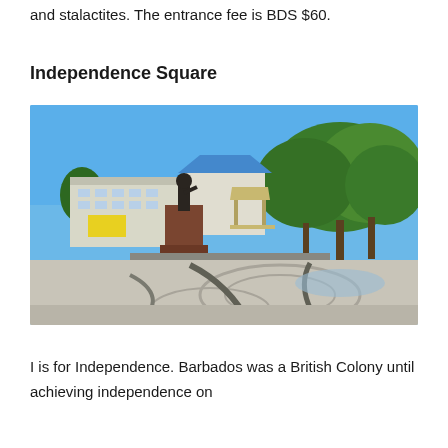and stalactites. The entrance fee is BDS $60.
Independence Square
[Figure (photo): Outdoor photo of Independence Square in Barbados showing a statue on a pedestal with steps, a gazebo structure behind it, palm trees and tropical trees on the right, buildings on the left including one with a blue roof, and a decorative paved plaza in the foreground with circular patterns, under a bright blue sky.]
I is for Independence. Barbados was a British Colony until achieving independence on